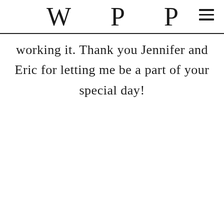W P P
working it. Thank you Jennifer and Eric for letting me be a part of your special day!